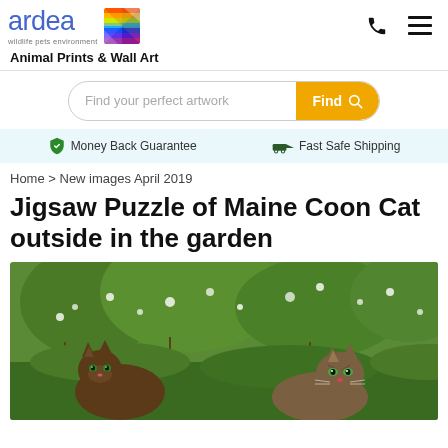ardea wildlife pets environment | Animal Prints & Wall Art
Find your perfect artwork
Money Back Guarantee | Fast Safe Shipping
Home > New images April 2019
Jigsaw Puzzle of Maine Coon Cat outside in the garden
[Figure (photo): Maine Coon cats photographed outside in a garden with green leafy plants and white flowering shrubs in the background]